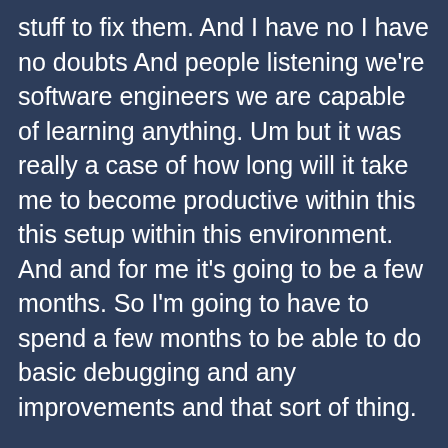stuff to fix them. And I have no I have no doubts And people listening we're software engineers we are capable of learning anything. Um but it was really a case of how long will it take me to become productive within this this setup within this environment. And and for me it's going to be a few months. So I'm going to have to spend a few months to be able to do basic debugging and any improvements and that sort of thing.
And that's just not realistic. I consult for clients full time so am I going to be learning about all of this setup and then doing that And it's just not realistic. So comparatively I could rebuild the entire thing using Laravel in the less time and I've got the